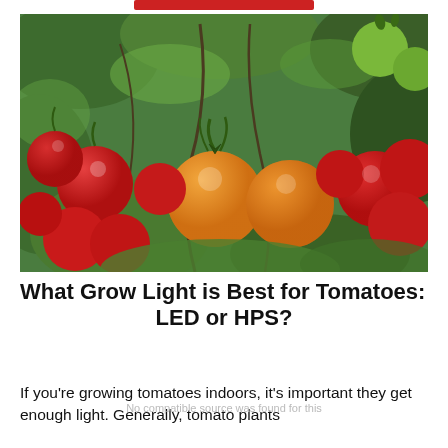[Figure (photo): Close-up photograph of cherry tomatoes in various colors – red and orange/yellow – hanging on a vine surrounded by green leaves.]
What Grow Light is Best for Tomatoes: LED or HPS?
If you're growing tomatoes indoors, it's important they get enough light. Generally, tomato plants